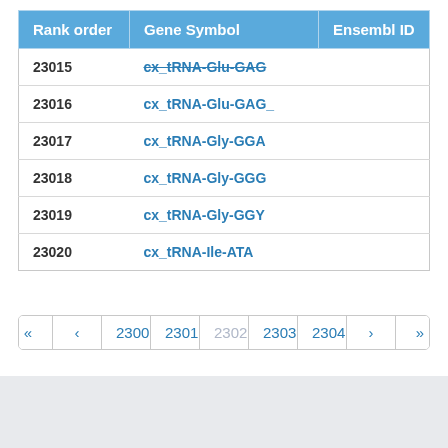| Rank order | Gene Symbol | Ensembl ID |
| --- | --- | --- |
| 23015 | cx_tRNA-Glu-GAG |  |
| 23016 | cx_tRNA-Glu-GAG_ |  |
| 23017 | cx_tRNA-Gly-GGA |  |
| 23018 | cx_tRNA-Gly-GGG |  |
| 23019 | cx_tRNA-Gly-GGY |  |
| 23020 | cx_tRNA-Ile-ATA |  |
« ‹ 2300 2301 2302 2303 2304 › »